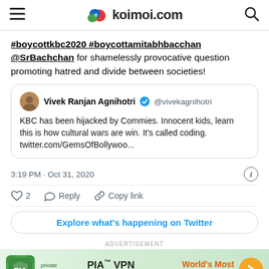koimoi.com
#boycottkbc2020 #boycottamitabhbacchan @SrBachchan for shamelessly provocative question promoting hatred and divide between societies!
[Figure (screenshot): Quoted tweet by Vivek Ranjan Agnihotri (@vivekagnihotri): KBC has been hijacked by Commies. Innocent kids, learn this is how cultural wars are win. It's called coding. twitter.com/GemsOfBollywoo...]
3:19 PM · Oct 31, 2020
2  Reply  Copy link
Explore what's happening on Twitter
ADVERTISEMENT
[Figure (infographic): PIA VPN Official Site advertisement banner - World's Most Trusted VPN]